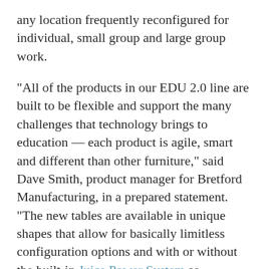any location frequently reconfigured for individual, small group and large group work.
"All of the products in our EDU 2.0 line are built to be flexible and support the many challenges that technology brings to education — each product is agile, smart and different than other furniture," said Dave Smith, product manager for Bretford Manufacturing, in a prepared statement. "The new tables are available in unique shapes that allow for basically limitless configuration options and with or without the built-in Juice Power System so educators can set up the furniture to create the specific learning environment they need."
More information about the EDU 2.0 line is available at bretford.com